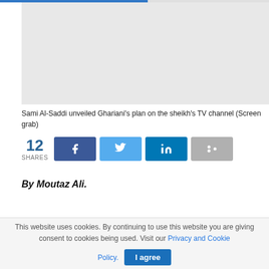[Figure (screenshot): A partially visible page with a blue/grey progress bar at top and a grey image placeholder area below.]
Sami Al-Saddi unveiled Ghariani's plan on the sheikh's TV channel (Screen grab)
12 SHARES [Facebook share button] [Twitter share button] [LinkedIn share button] [Share button]
By Moutaz Ali.
This website uses cookies. By continuing to use this website you are giving consent to cookies being used. Visit our Privacy and Cookie Policy.
I agree